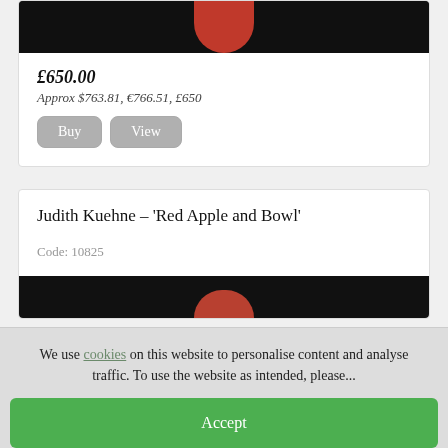[Figure (photo): Dark painting image cropped at top, showing red shape (possibly a robe or garment) against dark background]
£650.00
Approx $763.81, €766.51, £650
Buy  View
Judith Kuehne – 'Red Apple and Bowl'
Code: 10825
[Figure (photo): Dark painting image partially visible at bottom of card, showing dark background with hint of red apple]
We use cookies on this website to personalise content and analyse traffic. To use the website as intended, please...
Accept